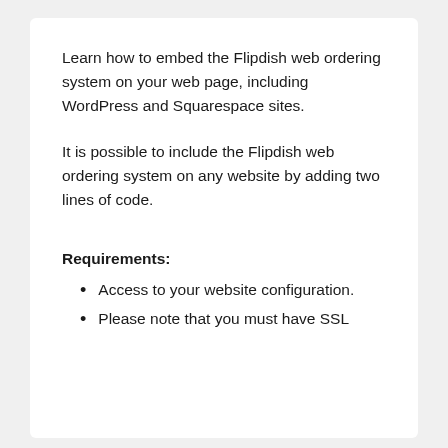Learn how to embed the Flipdish web ordering system on your web page, including WordPress and Squarespace sites.
It is possible to include the Flipdish web ordering system on any website by adding two lines of code.
Requirements:
Access to your website configuration.
Please note that you must have SSL